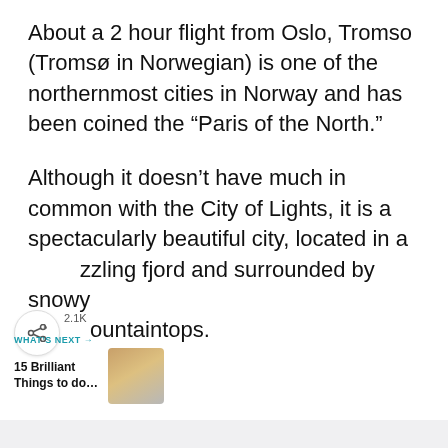About a 2 hour flight from Oslo, Tromso (Tromsø in Norwegian) is one of the northernmost cities in Norway and has been coined the “Paris of the North.”
Although it doesn’t have much in common with the City of Lights, it is a spectacularly beautiful city, located in a dazzling fjord and surrounded by snowy mountaintops.
[Figure (other): Heart (like) button in teal/cyan circle with count 2.1K and share button below]
WHAT’S NEXT →
15 Brilliant Things to do...